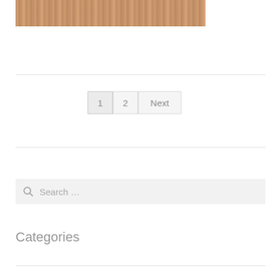[Figure (photo): Wood texture / grain image, warm brownish-tan tones]
1  2  Next
Search …
Categories